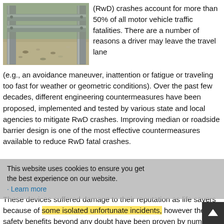[Figure (photo): Close-up photograph of a metal guardrail/barrier structure with gravel ground visible beneath and behind it. Metal posts and horizontal rails are visible.]
(RwD) crashes account for more than 50% of all motor vehicle traffic fatalities. There are a number of reasons a driver may leave the travel lane (e.g., an avoidance maneuver, inattention or fatigue or traveling too fast for weather or geometric conditions). Over the past few decades, different engineering countermeasures have been proposed, implemented and tested by various state and local agencies to mitigate RwD crashes. Improving median or roadside barrier design is one of the most effective countermeasures available to reduce RwD fatal crashes.
These devices suffered damage to their reputation as life savers because of some isolated unfortunate incidents, however the safety benefits beyond any doubt have been proven by numerous research studies. At this juncture, the